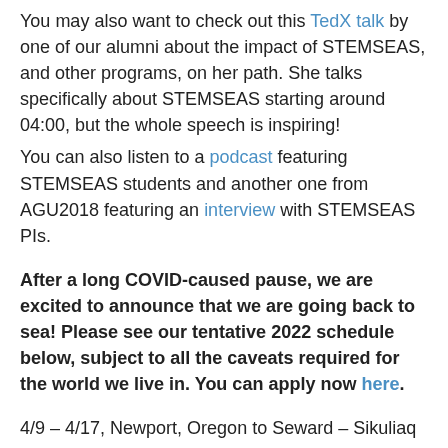You may also want to check out this TedX talk by one of our alumni about the impact of STEMSEAS, and other programs, on her path. She talks specifically about STEMSEAS starting around 04:00, but the whole speech is inspiring!
You can also listen to a podcast featuring STEMSEAS students and another one from AGU2018 featuring an interview with STEMSEAS PIs.
After a long COVID-caused pause, we are excited to announce that we are going back to sea! Please see our tentative 2022 schedule below, subject to all the caveats required for the world we live in. You can apply now here.
4/9 – 4/17, Newport, Oregon to Seward – Sikuliaq
4/30 – 5/8, Newport, Oregon to San Diego, CA – Langseth